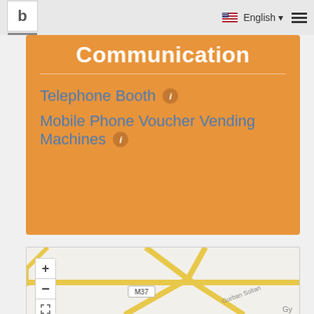b | English ☰
Communication
Telephone Booth ⓘ
Mobile Phone Voucher Vending Machines ⓘ
[Figure (map): Street map showing road intersections with road label M37 and text 'Gurban Soltan' and 'Gy', with yellow road lines on light grey background. Map includes zoom controls (+, -, fullscreen).]